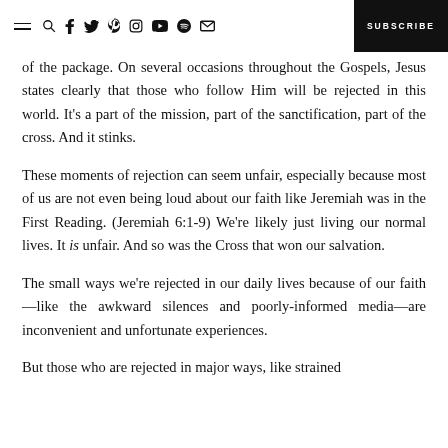☰ 🔍 f 𝕏 𝒑 ⊙ ▶ ♫ ✉  SUBSCRIBE
of the package. On several occasions throughout the Gospels, Jesus states clearly that those who follow Him will be rejected in this world. It's a part of the mission, part of the sanctification, part of the cross. And it stinks.
These moments of rejection can seem unfair, especially because most of us are not even being loud about our faith like Jeremiah was in the First Reading. (Jeremiah 6:1-9) We're likely just living our normal lives. It is unfair. And so was the Cross that won our salvation.
The small ways we're rejected in our daily lives because of our faith—like the awkward silences and poorly-informed media—are inconvenient and unfortunate experiences.
But those who are rejected in major ways, like strained